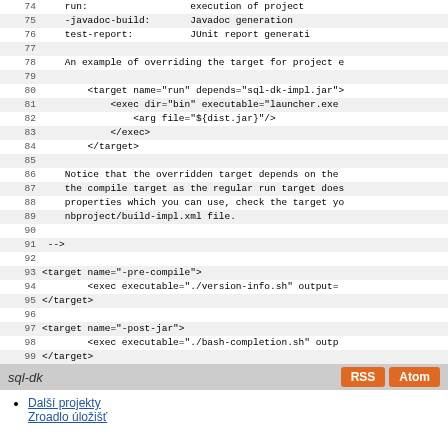[Figure (screenshot): Code editor view showing lines 74-101 of an XML build file with line numbers on the left and alternating row backgrounds. Code includes XML targets for run, -pre-compile, -post-jar, and project closing tag.]
sql-dk   RSS   Atom
Další projekty
Zroadlo úložišť